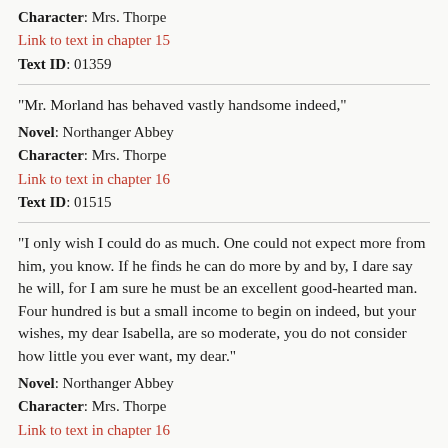Character: Mrs. Thorpe
Link to text in chapter 15
Text ID: 01359
“Mr. Morland has behaved vastly handsome indeed,”
Novel: Northanger Abbey
Character: Mrs. Thorpe
Link to text in chapter 16
Text ID: 01515
“I only wish I could do as much. One could not expect more from him, you know. If he finds he can do more by and by, I dare say he will, for I am sure he must be an excellent good-hearted man. Four hundred is but a small income to begin on indeed, but your wishes, my dear Isabella, are so moderate, you do not consider how little you ever want, my dear.”
Novel: Northanger Abbey
Character: Mrs. Thorpe
Link to text in chapter 16
Text ID: 01517